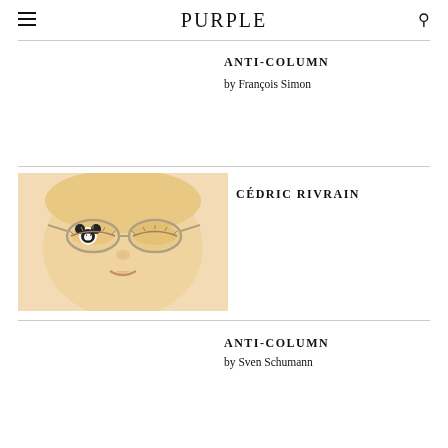PURPLE
ANTI-COLUMN
by François Simon
[Figure (illustration): Illustration of a face with closed eyes wearing glasses, with a Mickey Mouse motif on one lens, soft peach/beige skin tones]
CÉDRIC RIVRAIN
ANTI-COLUMN
by Sven Schumann